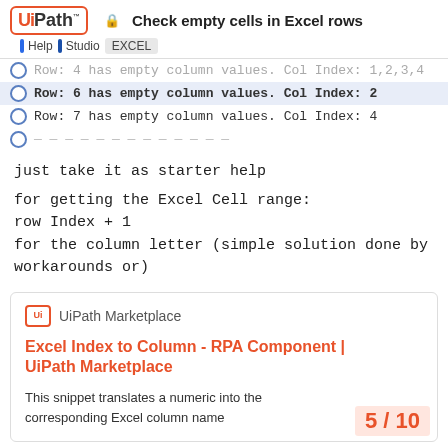Check empty cells in Excel rows — Help | Studio | EXCEL
Row: 4 has empty column values. Col Index: 1,2,3,4
Row: 6 has empty column values. Col Index: 2
Row: 7 has empty column values. Col Index: 4
just take it as starter help
for getting the Excel Cell range:
row Index + 1
for the column letter (simple solution done by workarounds or)
[Figure (screenshot): UiPath Marketplace card showing 'Excel Index to Column - RPA Component | UiPath Marketplace' with description 'This snippet translates a numeric into the corresponding Excel column name']
5 / 10